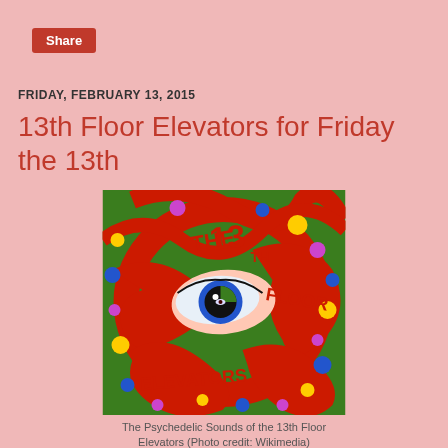Share
FRIDAY, FEBRUARY 13, 2015
13th Floor Elevators for Friday the 13th
[Figure (illustration): Psychedelic album art for The 13th Floor Elevators featuring a large eye in the center surrounded by swirling green and red patterns with colorful dots, text reading THE 13TH FLOOR ELEVATORS]
The Psychedelic Sounds of the 13th Floor Elevators (Photo credit: Wikimedia)